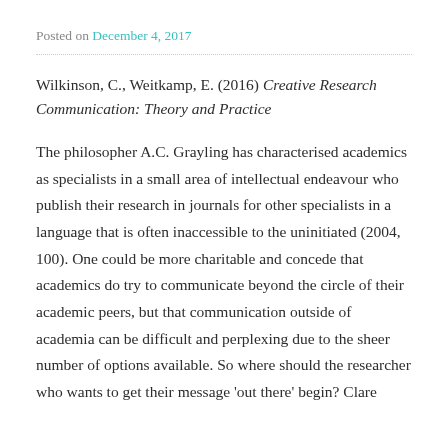Posted on December 4, 2017
Wilkinson, C., Weitkamp, E. (2016) Creative Research Communication: Theory and Practice
The philosopher A.C. Grayling has characterised academics as specialists in a small area of intellectual endeavour who publish their research in journals for other specialists in a language that is often inaccessible to the uninitiated (2004, 100). One could be more charitable and concede that academics do try to communicate beyond the circle of their academic peers, but that communication outside of academia can be difficult and perplexing due to the sheer number of options available. So where should the researcher who wants to get their message ‘out there’ begin? Clare